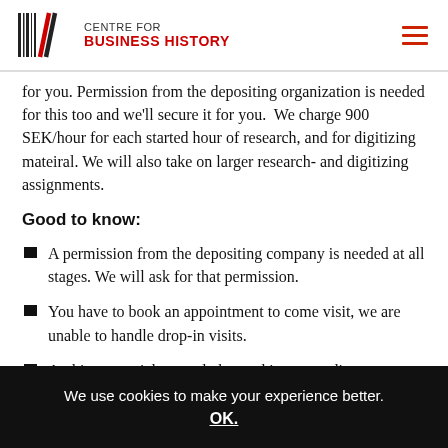Centre for Business History
for you. Permission from the depositing organization is needed for this too and we'll secure it for you.  We charge 900 SEK/hour for each started hour of research, and for digitizing mateiral. We will also take on larger research- and digitizing assignments.
Good to know:
A permission from the depositing company is needed at all stages. We will ask for that permission.
You have to book an appointment to come visit, we are unable to handle drop-in visits.
Archive material can only be read in our reading room.
We use cookies to make your experience better.
OK.